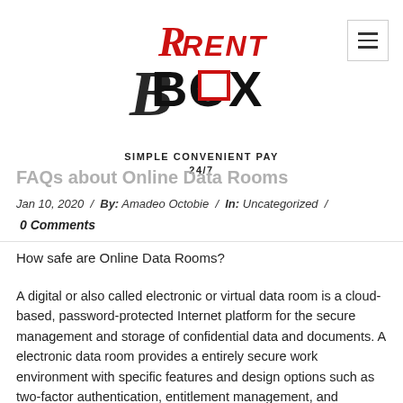[Figure (logo): RentBox logo with red and black lettering, tagline 'Simple Convenient Pay 24/7']
FAQs about Online Data Rooms
Jan 10, 2020  /  By: Amadeo Octobie  /  In: Uncategorized  /  0 Comments
How safe are Online Data Rooms?
A digital or also called electronic or virtual data room is a cloud-based, password-protected Internet platform for the secure management and storage of confidential data and documents. A electronic data room provides a entirely secure work environment with specific features and design options such as two-factor authentication, entitlement management, and document versioning. At the same time, thanks to a digital basis, both internally with colleagues and externally with